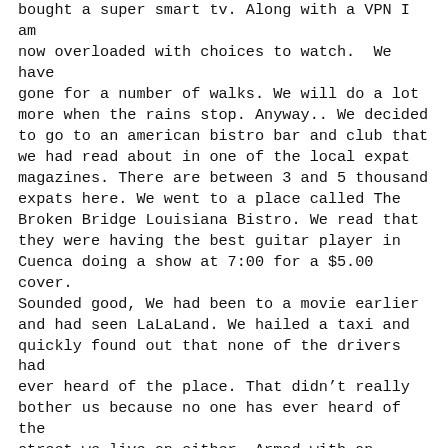bought a super smart tv. Along with a VPN I am now overloaded with choices to watch.  We have gone for a number of walks. We will do a lot more when the rains stop. Anyway.. We decided to go to an american bistro bar and club that we had read about in one of the local expat magazines. There are between 3 and 5 thousand expats here. We went to a place called The Broken Bridge Louisiana Bistro. We read that they were having the best guitar player in Cuenca doing a show at 7:00 for a $5.00 cover. Sounded good, We had been to a movie earlier and had seen LaLaLand. We hailed a taxi and quickly found out that none of the drivers had ever heard of the place. That didn't really bother us because no one has ever heard of the street we live on either. Armed with an approximate address ( the best you can hope for here considering about 50% of the streets